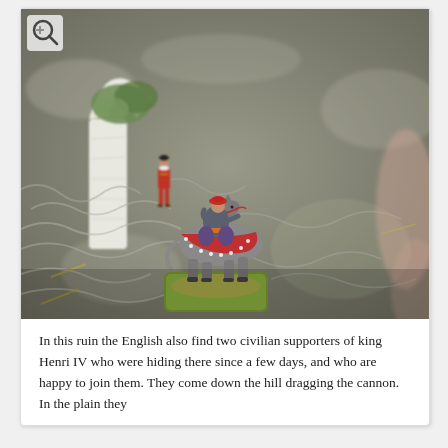[Figure (photo): Close-up photo of miniature wargaming figurines on a scenic base. A mounted cavalry figure wearing a red hat sits on a horse with decorative red caparison on a green-flock base, and a standing red-coated figure is visible to the left. A white ruined arch terrain piece with green foliage is in the background. The scene is set on a textured grey/green fur fabric representing grass.]
In this ruin the English also find two civilian supporters of king Henri IV who were hiding there since a few days, and who are happy to join them. They come down the hill dragging the cannon. In the plain they